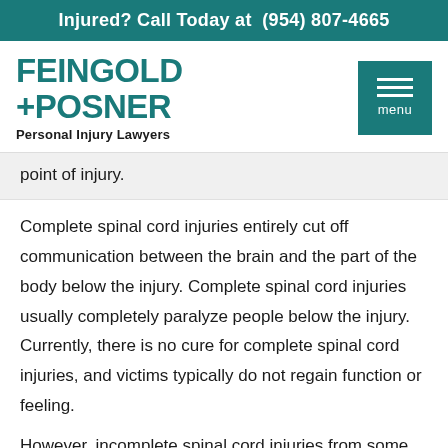Injured? Call Today at (954) 807-4665
[Figure (logo): Feingold + Posner Personal Injury Lawyers logo with teal menu button]
point of injury.
Complete spinal cord injuries entirely cut off communication between the brain and the part of the body below the injury. Complete spinal cord injuries usually completely paralyze people below the injury. Currently, there is no cure for complete spinal cord injuries, and victims typically do not regain function or feeling.
However, incomplete spinal cord injuries from some...